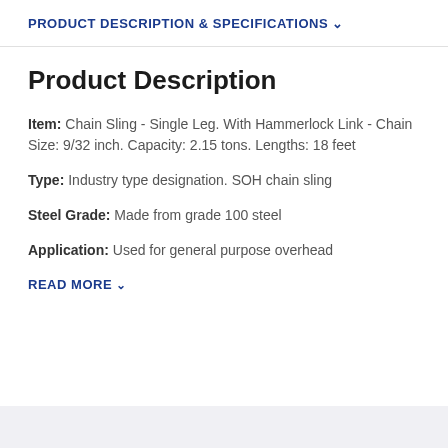PRODUCT DESCRIPTION & SPECIFICATIONS ▾
Product Description
Item: Chain Sling - Single Leg. With Hammerlock Link - Chain Size: 9/32 inch. Capacity: 2.15 tons. Lengths: 18 feet
Type: Industry type designation. SOH chain sling
Steel Grade: Made from grade 100 steel
Application: Used for general purpose overhead
READ MORE ▾